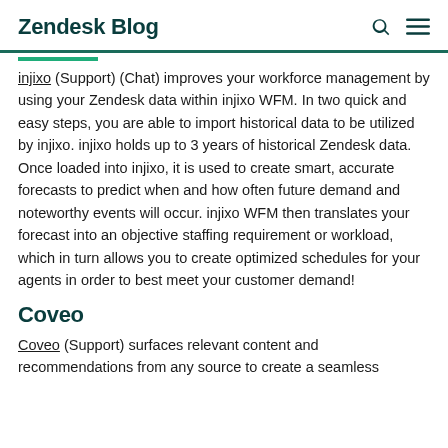Zendesk Blog
injixo (Support) (Chat) improves your workforce management by using your Zendesk data within injixo WFM. In two quick and easy steps, you are able to import historical data to be utilized by injixo. injixo holds up to 3 years of historical Zendesk data. Once loaded into injixo, it is used to create smart, accurate forecasts to predict when and how often future demand and noteworthy events will occur. injixo WFM then translates your forecast into an objective staffing requirement or workload, which in turn allows you to create optimized schedules for your agents in order to best meet your customer demand!
Coveo
Coveo (Support) surfaces relevant content and recommendations from any source to create a seamless